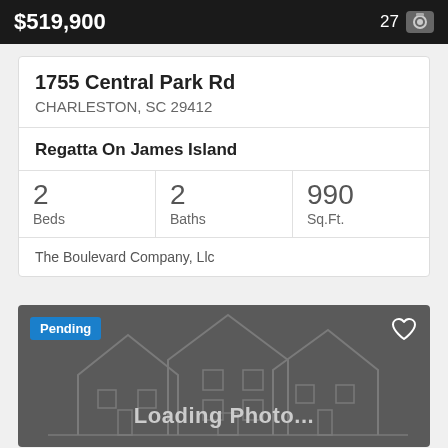$519,900
1755 Central Park Rd
CHARLESTON, SC 29412
Regatta On James Island
| 2
Beds | 2
Baths | 990
Sq.Ft. |
The Boulevard Company, Llc
[Figure (photo): Loading Photo placeholder with house line art, Pending badge, and heart icon]